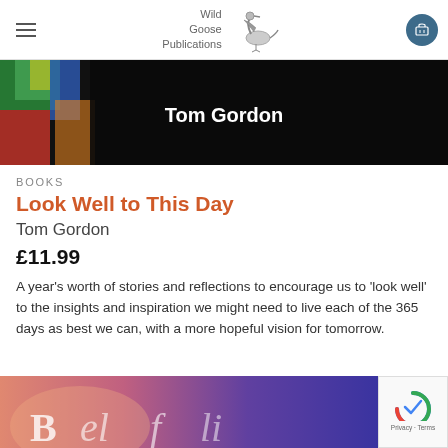Wild Goose Publications
[Figure (photo): Book cover photo showing stained glass window with 'Tom Gordon' text on dark background]
BOOKS
Look Well to This Day
Tom Gordon
£11.99
A year's worth of stories and reflections to encourage us to 'look well' to the insights and inspiration we might need to live each of the 365 days as best we can, with a more hopeful vision for tomorrow.
[Figure (photo): Bottom portion of another book cover with purple/pink sky background and partial white text]